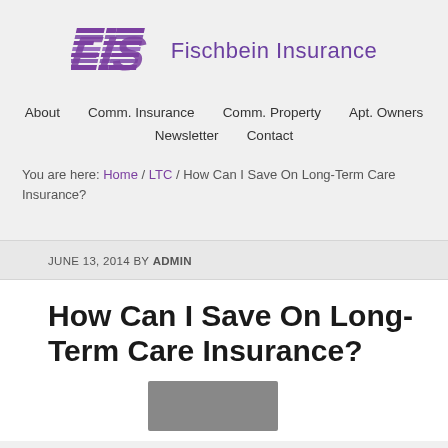[Figure (logo): Fischbein Insurance logo with stylized FIS text in purple and company name]
About   Comm. Insurance   Comm. Property   Apt. Owners   Newsletter   Contact
You are here: Home / LTC / How Can I Save On Long-Term Care Insurance?
JUNE 13, 2014 BY ADMIN
How Can I Save On Long-Term Care Insurance?
[Figure (photo): Partial photo at bottom of page]